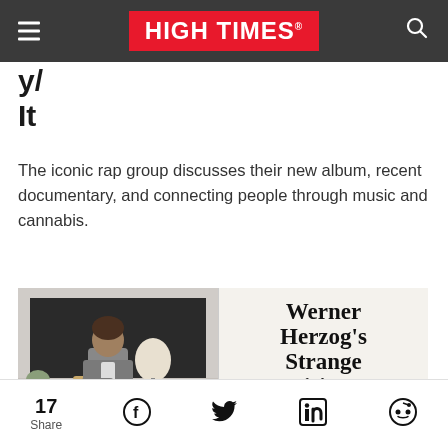HIGH TIMES
...p...g It
The iconic rap group discusses their new album, recent documentary, and connecting people through music and cannabis.
[Figure (photo): Left side: A man in a suit jacket sitting in a chair in a room. Right side: Magazine-style text card reading 'Werner Herzog's Strange Visions' with subtext 'Germany's leading director has the...']
17 Share | Facebook | Twitter | LinkedIn | Reddit